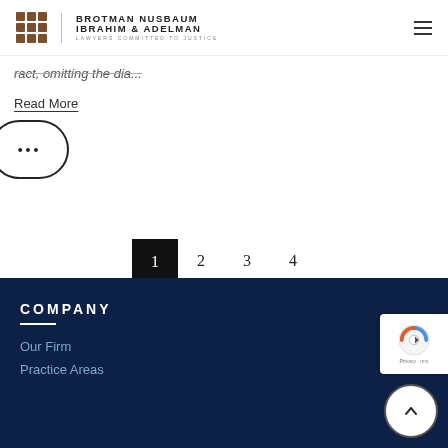Brotman Nusbaum Ibrahim & Adelman — Lawyers Committed to Justice
ract, omitting the dia...
Read More
...
1 2 3 4
COMPANY
Our Firm
Practice Areas